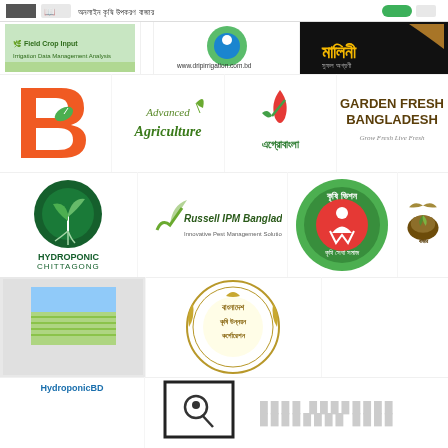অনলাইন কৃষি উপকরণ বাজার (Online Agriculture Input Market)
[Figure (logo): Green agricultural logo with text]
[Figure (logo): Drip irrigation logo - www.dripirrigation.com.bd]
[Figure (logo): মালিনী - dark background Bengali text logo]
[Figure (logo): Orange B letter logo with green leaf]
[Figure (logo): Advanced Agriculture cursive text logo]
[Figure (logo): এগ্রোবাংলা - red and green logo]
[Figure (logo): Garden Fresh Bangladesh - grow fresh live fresh]
[Figure (logo): Hydroponic Chittagong - green circular logo]
[Figure (logo): Russell IPM Bangladesh logo]
[Figure (logo): কৃষি ভিশন - green circular Bengali logo]
[Figure (logo): বাজার - Bengali logo with coconut/produce]
[Figure (logo): HydroponicBD - field/farm photo logo]
[Figure (logo): বাংলাদেশ কৃষি উন্নয়ন কর্পোরেশন - circular seal]
[Figure (illustration): Search/location icon in box]
বিস্তারিত তথ্যের জন্য ক্লিক করুন (placeholder Bengali text)